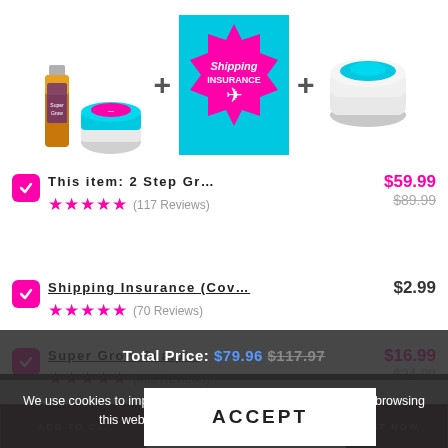[Figure (illustration): Product bundle: amber bottle with white tub, plus shipping insurance badge, plus white round cream tub. Items separated by plus signs.]
This item: 2 Step Gr…  ★★★★★  (117 Reviews)  $59.99  $89.99
Shipping Insurance (Cov…  ★★★★★  (70 Reviews)  $2.99
Super Grow-Scalp…  ★★★★★  (686 Reviews)  $16.99  $24.99
Total Price: $79.96 $117.97
We use cookies to improve your experience on our website. By browsing this website, you agree to our use of cookies.
ACCEPT
ADD TO C… IT NOW